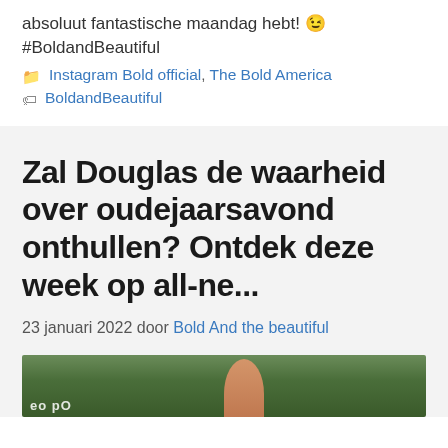absoluut fantastische maandag hebt! 😉 #BoldandBeautiful
Instagram Bold official, The Bold America
BoldandBeautiful
Zal Douglas de waarheid over oudejaarsavond onthullen? Ontdek deze week op all-ne...
23 januari 2022 door Bold And the beautiful
[Figure (photo): Partial photo of a person, partially cut off at bottom of page, with a logo overlay]